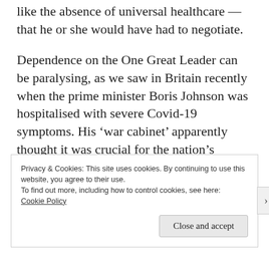like the absence of universal healthcare — that he or she would have had to negotiate.
Dependence on the One Great Leader can be paralysing, as we saw in Britain recently when the prime minister Boris Johnson was hospitalised with severe Covid-19 symptoms. His ‘war cabinet’ apparently thought it was crucial for the nation’s morale to believe that he was still in command. First they prevaricated, suggesting he had been
Privacy & Cookies: This site uses cookies. By continuing to use this website, you agree to their use.
To find out more, including how to control cookies, see here: Cookie Policy
Close and accept